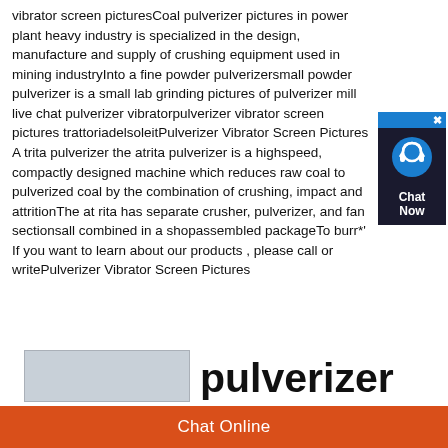vibrator screen picturesCoal pulverizer pictures in power plant heavy industry is specialized in the design, manufacture and supply of crushing equipment used in mining industryInto a fine powder pulverizersmall powder pulverizer is a small lab grinding pictures of pulverizer mill live chat pulverizer vibratorpulverizer vibrator screen pictures trattoriadelsoleitPulverizer Vibrator Screen Pictures A trita pulverizer the atrita pulverizer is a highspeed, compactly designed machine which reduces raw coal to pulverized coal by the combination of crushing, impact and attritionThe at rita has separate crusher, pulverizer, and fan sectionsall combined in a shopassembled packageTo burr*' If you want to learn about our products , please call or writePulverizer Vibrator Screen Pictures
[Figure (other): Chat Now widget with blue/dark background, headset icon, close X button, and 'Chat Now' text]
[Figure (other): Grey rectangular image placeholder box at bottom left]
pulverizer
Chat Online